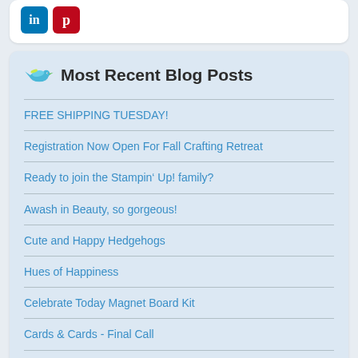[Figure (logo): LinkedIn and Pinterest social media icons at top of page]
Most Recent Blog Posts
FREE SHIPPING TUESDAY!
Registration Now Open For Fall Crafting Retreat
Ready to join the Stampin’ Up! family?
Awash in Beauty, so gorgeous!
Cute and Happy Hedgehogs
Hues of Happiness
Celebrate Today Magnet Board Kit
Cards & Cards - Final Call
Do you need a NEW Stampin’ Up! Catalogue?
FREE shipping and Flowering Tulips Online!